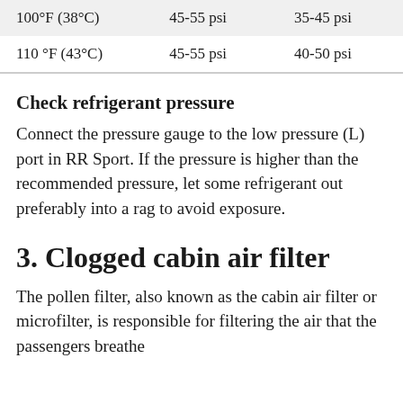| 100°F (38°C) | 45-55 psi | 35-45 psi |
| 110 °F (43°C) | 45-55 psi | 40-50 psi |
Check refrigerant pressure
Connect the pressure gauge to the low pressure (L) port in RR Sport. If the pressure is higher than the recommended pressure, let some refrigerant out preferably into a rag to avoid exposure.
3. Clogged cabin air filter
The pollen filter, also known as the cabin air filter or microfilter, is responsible for filtering the air that the passengers breathe